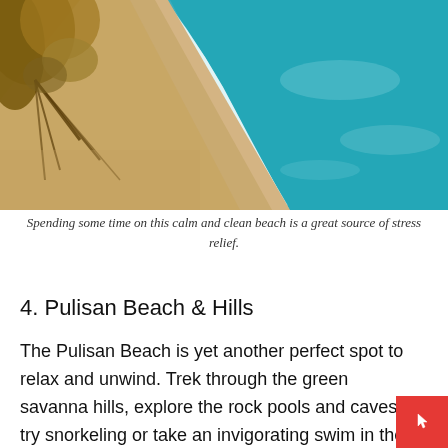[Figure (photo): Aerial view of a calm beach with golden/white sandy shoreline and clear turquoise water, with trees/vegetation on the left side.]
Spending some time on this calm and clean beach is a great source of stress relief.
4. Pulisan Beach & Hills
The Pulisan Beach is yet another perfect spot to relax and unwind. Trek through the green savanna hills, explore the rock pools and caves, try snorkeling or take an invigorating swim in the crystal-clear water.